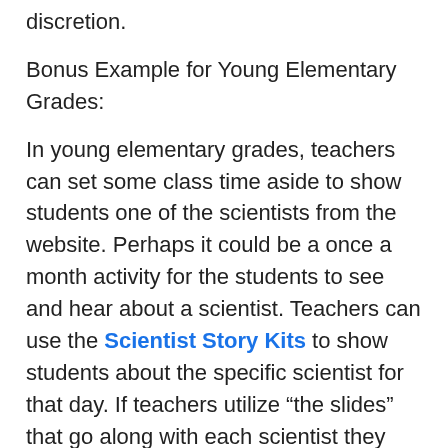discretion.
Bonus Example for Young Elementary Grades:
In young elementary grades, teachers can set some class time aside to show students one of the scientists from the website. Perhaps it could be a once a month activity for the students to see and hear about a scientist. Teachers can use the Scientist Story Kits to show students about the specific scientist for that day. If teachers utilize “the slides” that go along with each scientist they can tell students about that scientist’s life, what they study, what hobbies they have, and the students would also be able to see what that scientist looks like from their photo.
One Scientist that could be a great starting point is Noor Al-Alusi because she is an epidemiologist which means she studies the spread of diseases in